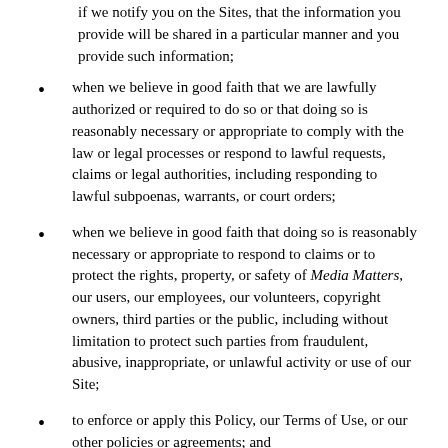if we notify you on the Sites, that the information you provide will be shared in a particular manner and you provide such information;
when we believe in good faith that we are lawfully authorized or required to do so or that doing so is reasonably necessary or appropriate to comply with the law or legal processes or respond to lawful requests, claims or legal authorities, including responding to lawful subpoenas, warrants, or court orders;
when we believe in good faith that doing so is reasonably necessary or appropriate to respond to claims or to protect the rights, property, or safety of Media Matters, our users, our employees, our volunteers, copyright owners, third parties or the public, including without limitation to protect such parties from fraudulent, abusive, inappropriate, or unlawful activity or use of our Site;
to enforce or apply this Policy, our Terms of Use, or our other policies or agreements; and
to connect you with third parties in connection of